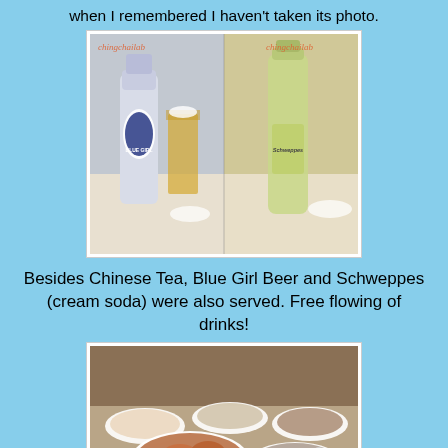when I remembered I haven't taken its photo.
[Figure (photo): Two photos side by side: left shows a Blue Girl beer bottle and a glass of beer on a restaurant table; right shows a Schweppes bottle on a restaurant table. Watermarks 'chingchailab' visible in orange.]
Besides Chinese Tea, Blue Girl Beer and Schweppes (cream soda) were also served. Free flowing of drinks!
[Figure (photo): Photo of a restaurant table filled with multiple plates of seafood dishes including crabs, lobsters, and fish. Watermark 'chingchailab' visible in orange at bottom left.]
This was our 16 course seafood dinner